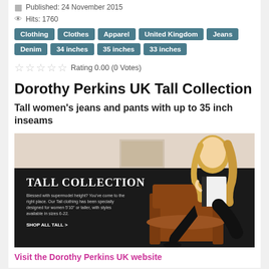Published: 24 November 2015
Hits: 1760
Clothing
Clothes
Apparel
United Kingdom
Jeans
Denim
34 inches
35 inches
33 inches
Rating 0.00 (0 Votes)
Dorothy Perkins UK Tall Collection
Tall women's jeans and pants with up to 35 inch inseams
[Figure (photo): Dorothy Perkins Tall Collection advertisement showing a tall blonde woman seated in a leather chair wearing black pants, with text 'TALL COLLECTION' and 'Blessed with supermodel height? You've come to the right place. Our Tall clothing has been specially designed for women 5'10" or taller, with styles available in sizes 6-22. SHOP ALL TALL >']
Visit the Dorothy Perkins UK website